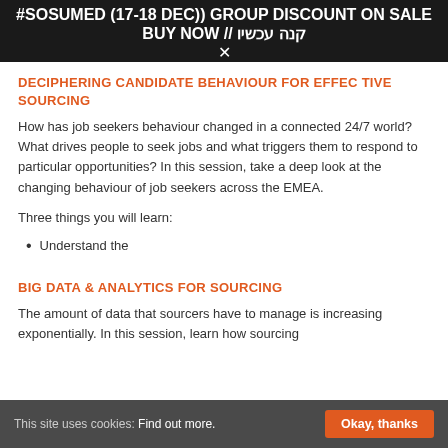#SOSUMED (17-18 DEC)) GROUP DISCOUNT ON SALE
BUY NOW // קנה עכשיו
DECIPHERING CANDIDATE BEHAVIOUR FOR EFFECTIVE SOURCING
How has job seekers behaviour changed in a connected 24/7 world? What drives people to seek jobs and what triggers them to respond to particular opportunities? In this session, take a deep look at the changing behaviour of job seekers across the EMEA.
Three things you will learn:
Understand the
BIG DATA & ANALYTICS FOR SOURCING
The amount of data that sourcers have to manage is increasing exponentially. In this session, learn how sourcing
This site uses cookies: Find out more.   Okay, thanks